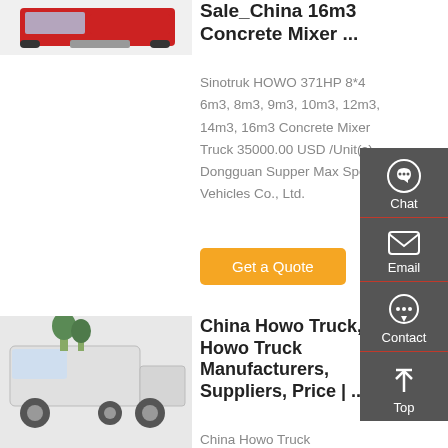[Figure (photo): Red concrete mixer truck front view]
Sale_China 16m3 Concrete Mixer ...
Sinotruk HOWO 371HP 8*4 6m3, 8m3, 9m3, 10m3, 12m3, 14m3, 16m3 Concrete Mixer Truck 35000.00 USD /Unit(s) Dongguan Supper Max Special Vehicles Co., Ltd.
[Figure (other): Chat sidebar button with headset icon]
[Figure (other): Email sidebar button with envelope icon]
[Figure (other): Contact sidebar button with chat bubble icon]
[Figure (other): Top sidebar button with arrow icon]
[Figure (photo): White Howo truck tractor side view]
China Howo Truck, Howo Truck Manufacturers, Suppliers, Price | ...
China Howo Truck